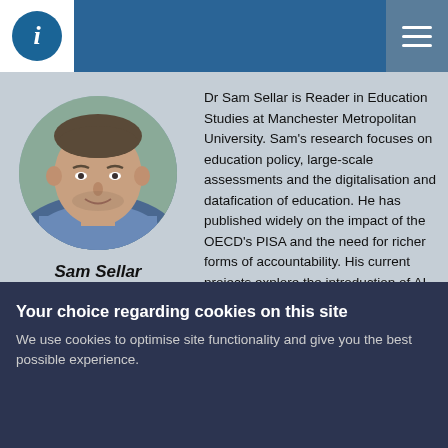[Figure (logo): Website header with blue banner, white logo box containing a blue circle with italic letter i, and hamburger menu icon on the right]
[Figure (photo): Circular portrait photo of Sam Sellar, a man in a blue checked shirt]
Sam Sellar
Dr Sam Sellar is Reader in Education Studies at Manchester Metropolitan University. Sam's research focuses on education policy, large-scale assessments and the digitalisation and datafication of education. He has published widely on the impact of the OECD's PISA and the need for richer forms of accountability. His current projects explore the introduction of AI into education policy making and the use of digital
Your choice regarding cookies on this site
We use cookies to optimise site functionality and give you the best possible experience.